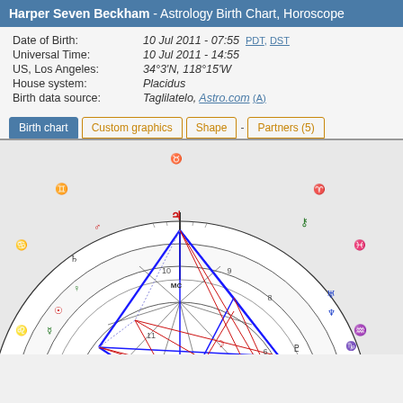Harper Seven Beckham - Astrology Birth Chart, Horoscope
Date of Birth: 10 Jul 2011 - 07:55 (PDT, DST)
Universal Time: 10 Jul 2011 - 14:55
US, Los Angeles: 34°3'N, 118°15'W
House system: Placidus
Birth data source: Taglilatelo, Astro.com (A)
Birth chart | Custom graphics | Shape | - | Partners (5)
[Figure (other): Astrological birth chart wheel for Harper Seven Beckham showing zodiac signs, house numbers, planetary positions (Sun, Moon, Mercury, Venus, Mars, Jupiter, Saturn, Uranus, Neptune, Pluto, Chiron, etc.), aspect lines (blue and red) inside a circular chart with MC, ASC, DSC labels and degree markings.]